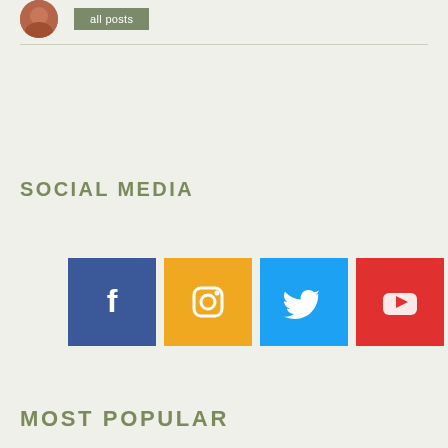[Figure (photo): Circular avatar/profile photo cropped at top, partially visible, with a dark olive/grey button labeled 'all posts' to the right]
SOCIAL MEDIA
[Figure (infographic): Four social media icon buttons in a row: Facebook (blue square with 'f'), Instagram (orange/yellow square with camera icon), Twitter (blue square with bird icon), YouTube (red square with play button icon)]
MOST POPULAR